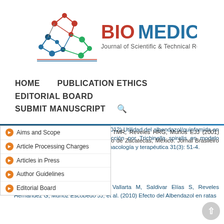[Figure (logo): Biomedical Journal of Scientific & Technical Research logo with colorful molecule/network graphic and text]
HOME   PUBLICATION ETHICS
EDITORIAL BOARD
SUBMIT MANUSCRIPT  🔍
Garcia MA y Reveles Hernández G (2012) Utilidad del albendazol/quinfamida en el tratamiento diferencial de la infección por Trichinella spiralis en modelo murino. Archivos Venezolanos de farmacología y terapéutica 31(3): 51-4.
Aims and Scope
Article Processing Charges
Articles in Press
Author Guidelines
Editorial Board
26. Moreno Garcia MA, Vacio de la TMR, Reveles HRG, Muños EJJ (2001) Epidemiología de spiralis en el Estado de Zacatecas, México. Jornal Brasileiro de parasitologia 37(4): 57.
27. Chávez Guajardo E, Morales Vallarta M, Saldivar Elías S, Reveles Hernández G, Muñoz Escobedo JJ, et al. (2010) Efecto del Albendazol en ratas